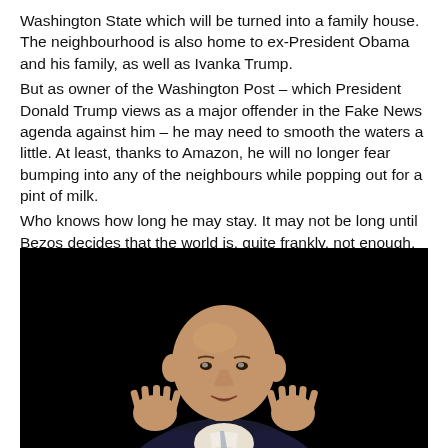Washington State which will be turned into a family house. The neighbourhood is also home to ex-President Obama and his family, as well as Ivanka Trump.
But as owner of the Washington Post – which President Donald Trump views as a major offender in the Fake News agenda against him – he may need to smooth the waters a little. At least, thanks to Amazon, he will no longer fear bumping into any of the neighbours while popping out for a pint of milk.
Who knows how long he may stay. It may not be long until Bezos decides that the world is, quite frankly, not enough.
Richard L. Brandt is author of One Click: Jeff Bezos And The Rise Of Amazon.com
[Figure (photo): A bald man in a dark suit gesturing with both hands raised, photographed against a black background. Identified as Jeff Bezos.]